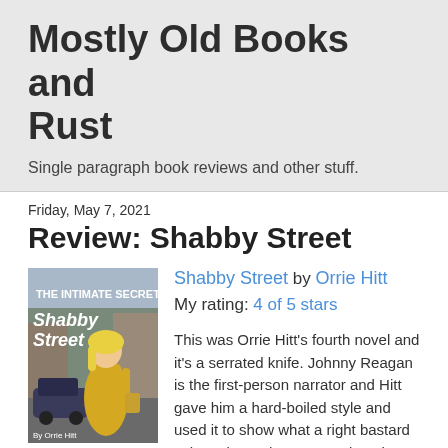Mostly Old Books and Rust
Single paragraph book reviews and other stuff.
Friday, May 7, 2021
Review: Shabby Street
[Figure (illustration): Book cover of 'Shabby Street' by Orrie Hitt showing a blonde woman in a yellow dress on a city street]
Shabby Street by Orrie Hitt
My rating: 4 of 5 stars

This was Orrie Hitt's fourth novel and it's a serrated knife. Johnny Reagan is the first-person narrator and Hitt gave him a hard-boiled style and used it to show what a right bastard Johnny is. He has zero redeeming qualities - unless you count how hard he works at being a lying, cheating, thieving